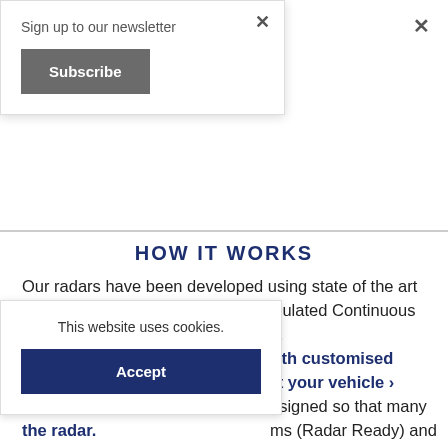Sign up to our newsletter
Subscribe
HOW IT WORKS
Our radars have been developed using state of the art FMCW technology (Frequency Modulated Continuous Wave) for 100% accurate detection. The radar can be programmed with customised detection patterns tailored to suit your vehicle detect hazards up the radar.
This website uses cookies.
Accept
esigned so that many ms (Radar Ready) and